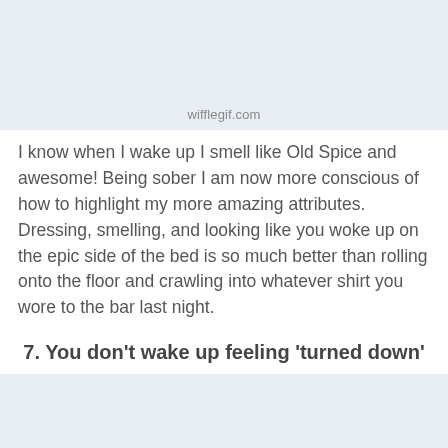[Figure (other): Light blue-gray image block with 'wifflegif.com' watermark text at bottom center]
I know when I wake up I smell like Old Spice and awesome! Being sober I am now more conscious of how to highlight my more amazing attributes. Dressing, smelling, and looking like you woke up on the epic side of the bed is so much better than rolling onto the floor and crawling into whatever shirt you wore to the bar last night.
7. You don’t wake up feeling ‘turned down’
[Figure (other): Light blue-gray image block placeholder]
Share This ∨ ×